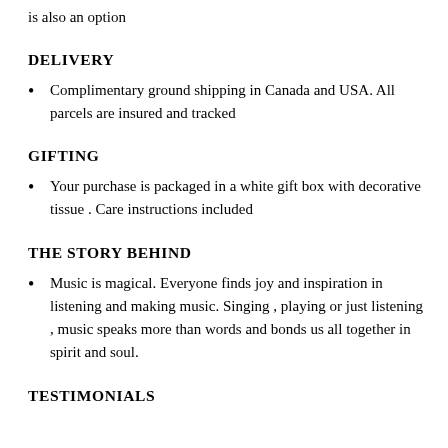is also an option
DELIVERY
Complimentary ground shipping in Canada and USA. All parcels are insured and tracked
GIFTING
Your purchase is packaged in a white gift box with decorative tissue . Care instructions included
THE STORY BEHIND
Music is magical. Everyone finds joy and inspiration in listening and making music. Singing , playing or just listening , music speaks more than words and bonds us all together in spirit and soul.
TESTIMONIALS